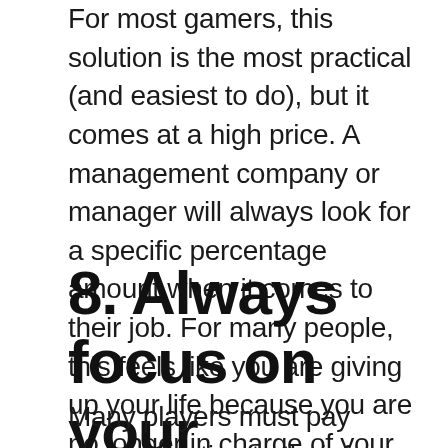For most gamers, this solution is the most practical (and easiest to do), but it comes at a high price. A management company or manager will always look for a specific percentage amount when it comes to their job. For many people, this feels like you are giving up your life because you are no longer in charge of your own image or job. If you haven't followed any of these steps mentioned above, please choose this one as a last resort.
8. Always focus on your training
Many players must pay close attention to their focus and their game. That is why they